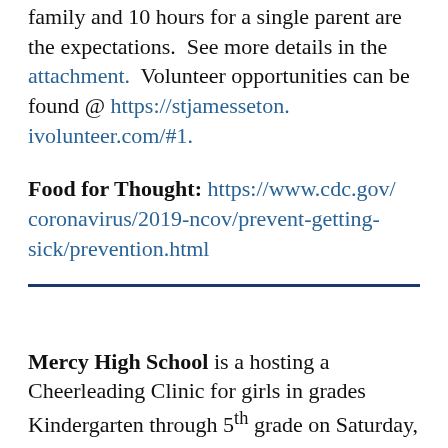family and 10 hours for a single parent are the expectations. See more details in the attachment. Volunteer opportunities can be found @ https://stjamesseton.ivolunteer.com/#1.
Food for Thought: https://www.cdc.gov/coronavirus/2019-ncov/prevent-getting-sick/prevention.html
Mercy High School is a hosting a Cheerleading Clinic for girls in grades Kindergarten through 5th grade on Saturday,